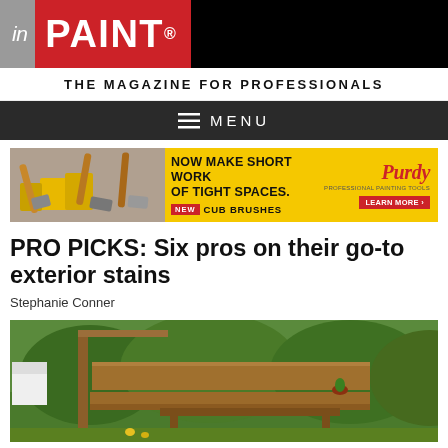inPAINT® THE MAGAZINE FOR PROFESSIONALS
MENU
[Figure (infographic): Purdy Cub Brushes advertisement banner. Shows paint brushes on the left, yellow background, text: NOW MAKE SHORT WORK OF TIGHT SPACES. NEW CUB BRUSHES. Purdy logo. LEARN MORE.]
PRO PICKS: Six pros on their go-to exterior stains
Stephanie Conner
[Figure (photo): Outdoor wooden deck/patio furniture with stained wood bench and table, green trees and grass in background, white building visible.]